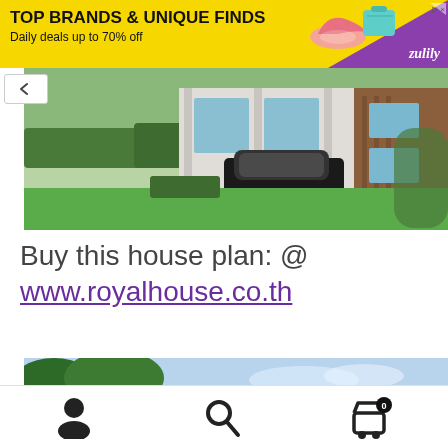[Figure (screenshot): Zulily advertisement banner: yellow background with text 'TOP BRANDS & UNIQUE FINDS, Daily deals up to 70% off', shoe and bag graphics, purple zulily branding]
[Figure (photo): Modern house exterior with green lawn, hedges, dark car in carport, wooden and concrete facade, lush garden]
Buy this house plan: @ www.royalhouse.co.th
[Figure (photo): Outdoor scene with trees and blue sky, partial view]
Navigation bar with user icon, search icon, and shopping cart icon with badge 0